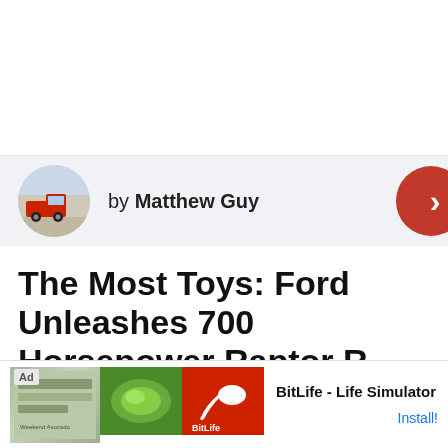[Figure (illustration): White blank space at top of page, likely an ad or image placeholder area]
by Matthew Guy
The Most Toys: Ford Unleashes 700 Horsepower Raptor R
July 18th, 2022 9:39 AM
Share
[Figure (screenshot): Ad banner: BitLife - Life Simulator with Install button]